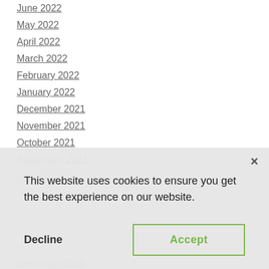June 2022
May 2022
April 2022
March 2022
February 2022
January 2022
December 2021
November 2021
October 2021
September 2021
August 2021
This website uses cookies to ensure you get the best experience on our website.
Decline
Accept
December 2020